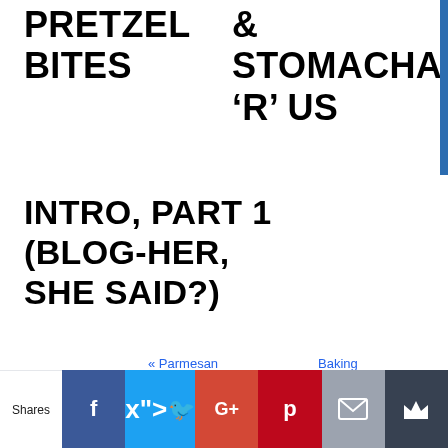PRETZEL BITES & STOMACHACHES 'R' US
INTRO, PART 1 (BLOG-HER, SHE SAID?)
« Parmesan
Baking
Shares | Facebook | Twitter | Google+ | Pinterest | Email | Crown